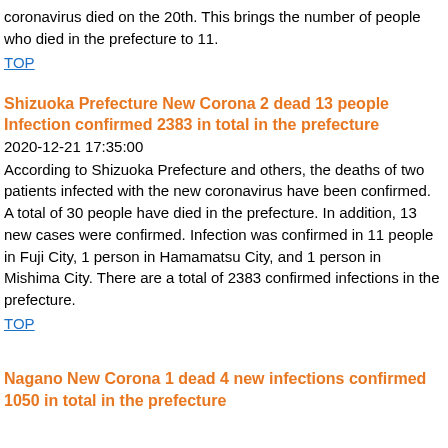coronavirus died on the 20th. This brings the number of people who died in the prefecture to 11.
TOP
Shizuoka Prefecture New Corona 2 dead 13 people Infection confirmed 2383 in total in the prefecture
2020-12-21 17:35:00
According to Shizuoka Prefecture and others, the deaths of two patients infected with the new coronavirus have been confirmed. A total of 30 people have died in the prefecture. In addition, 13 new cases were confirmed. Infection was confirmed in 11 people in Fuji City, 1 person in Hamamatsu City, and 1 person in Mishima City. There are a total of 2383 confirmed infections in the prefecture.
TOP
Nagano New Corona 1 dead 4 new infections confirmed 1050 in total in the prefecture